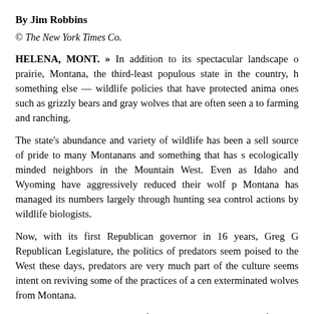By Jim Robbins
© The New York Times Co.
HELENA, MONT. » In addition to its spectacular landscape of prairie, Montana, the third-least populous state in the country, has something else — wildlife policies that have protected animals, even ones such as grizzly bears and gray wolves that are often seen as threats to farming and ranching.
The state's abundance and variety of wildlife has been a selling source of pride to many Montanans and something that has set it ecologically minded neighbors in the Mountain West. Even as Idaho and Wyoming have aggressively reduced their wolf populations, Montana has managed its numbers largely through hunting seasons and control actions by wildlife biologists.
Now, with its first Republican governor in 16 years, Greg Gianforte, and a Republican Legislature, the politics of predators seem poised to shift. Across the West these days, predators are very much part of the culture wars. Montana seems intent on reviving some of the practices of a century ago that exterminated wolves from Montana.
Several bills are headed to Gianforte's desk that would allow for hunters in the state to drive down their numbers. Practices that are being considered: use of spotlights at night, which is considered unethical because it blinds animals, hunting in areas close to national parks where animals with habitats and histories...